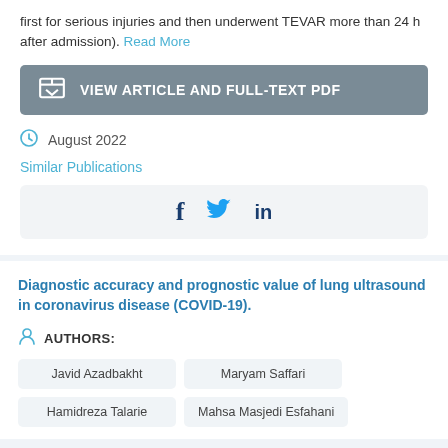first for serious injuries and then underwent TEVAR more than 24 h after admission). Read More
VIEW ARTICLE AND FULL-TEXT PDF
August 2022
Similar Publications
[Figure (infographic): Social share icons: Facebook (f), Twitter (bird), LinkedIn (in)]
Diagnostic accuracy and prognostic value of lung ultrasound in coronavirus disease (COVID-19).
AUTHORS:
Javid Azadbakht
Maryam Saffari
Hamidreza Talarie
Mahsa Masjedi Esfahani